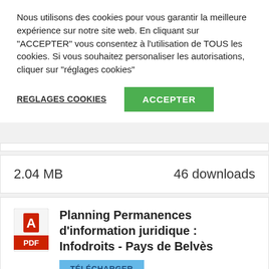Nous utilisons des cookies pour vous garantir la meilleure expérience sur notre site web. En cliquant sur "ACCEPTER" vous consentez à l'utilisation de TOUS les cookies. Si vous souhaitez personaliser les autorisations, cliquer sur "réglages cookies"
REGLAGES COOKIES
ACCEPTER
2.04 MB    46 downloads
Planning Permanences d'information juridique : Infodroits - Pays de Belvès
TÉLÉCHARGER
118.43 KB    10 downloads